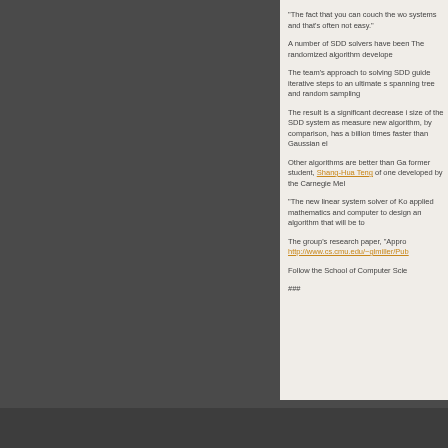“The fact that you can couch the wo systems and that’s often not easy.”
A number of SDD solvers have been The randomized algorithm develope
The team’s approach to solving SDD guide iterative steps to an ultimate s spanning tree and random sampling
The result is a significant decrease i size of the SDD system as measure new algorithm, by comparison, has a billion times faster than Gaussian el
Other algorithms are better than Ga former student, Shang-Hua Teng of one developed by the Carnegie Mel
“The new linear system solver of Ko applied mathematics and computer to design an algorithm that will be to
The group’s research paper, “Appro http://www.cs.cmu.edu/~glmiller/Pub
Follow the School of Computer Scie
###